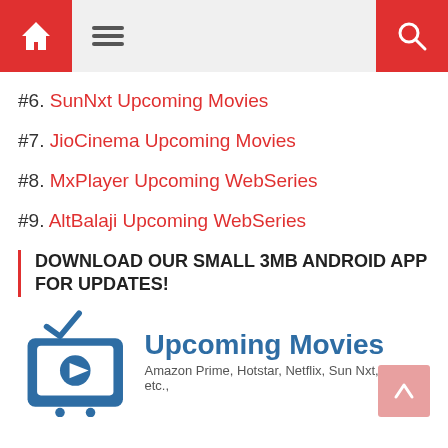Home | Menu | Search
#6. SunNxt Upcoming Movies
#7. JioCinema Upcoming Movies
#8. MxPlayer Upcoming WebSeries
#9. AltBalaji Upcoming WebSeries
DOWNLOAD OUR SMALL 3MB ANDROID APP FOR UPDATES!
[Figure (logo): TV icon with checkmark logo for Upcoming Movies app, with text 'Upcoming Movies' and subtitle 'Amazon Prime, Hotstar, Netflix, Sun Nxt, Zee 5 etc.,']